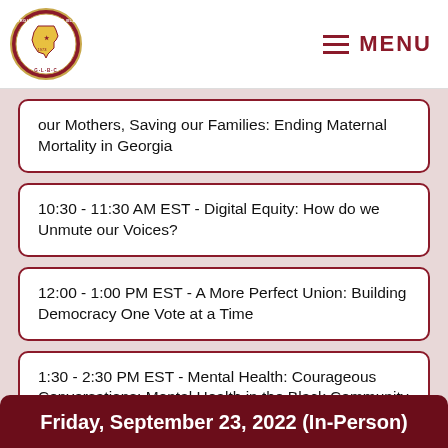Georgia Legislative Black Caucus — MENU
our Mothers, Saving our Families: Ending Maternal Mortality in Georgia
10:30 - 11:30 AM EST - Digital Equity: How do we Unmute our Voices?
12:00 - 1:00 PM EST - A More Perfect Union: Building Democracy One Vote at a Time
1:30 - 2:30 PM EST - Mental Health: Courageous Conversations: Mental Health in the Black Community
Friday, September 23, 2022 (In-Person)